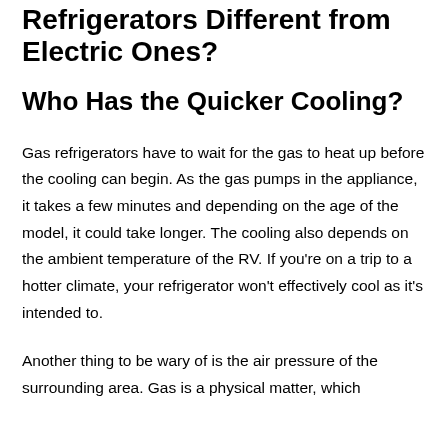Refrigerators Different from Electric Ones?
Who Has the Quicker Cooling?
Gas refrigerators have to wait for the gas to heat up before the cooling can begin. As the gas pumps in the appliance, it takes a few minutes and depending on the age of the model, it could take longer. The cooling also depends on the ambient temperature of the RV. If you're on a trip to a hotter climate, your refrigerator won't effectively cool as it's intended to.
Another thing to be wary of is the air pressure of the surrounding area. Gas is a physical matter, which